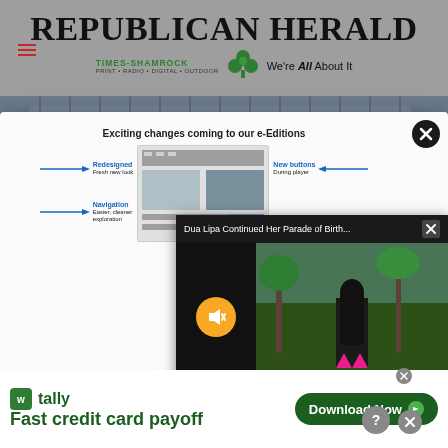Republican Herald / Times-Shamrock — Print • Radio • Digital • Outdoor — We're All About It
[Figure (screenshot): e-Editions promotional modal with title 'Exciting changes coming to our e-Editions' showing redesign diagram with labels: Redesigned (Fresh new look), Navigation (Easier, cleaner exploration), New buttons (During player)]
[Figure (screenshot): Video popup overlay titled 'Dua Lipa Continued Her Parade of Birth...' showing a woman in a black and pink outfit standing in front of palm trees, with a mute button on the left side]
[Figure (screenshot): Tally app advertisement banner: 'Fast credit card payoff' with a Download Now button]